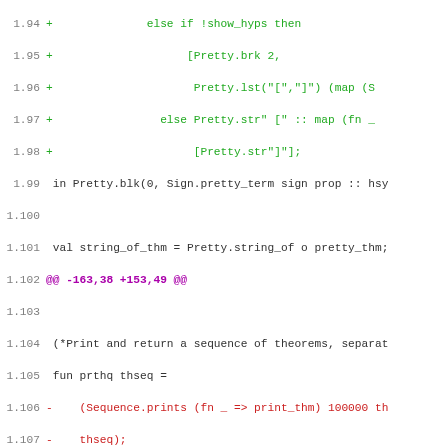[Figure (screenshot): Code diff view showing line numbers 1.94 through 1.125 with added lines in green, removed lines in red, context lines in dark, and a hunk header in purple/magenta. The code appears to be ML/SML functional programming language showing changes to printing functions.]